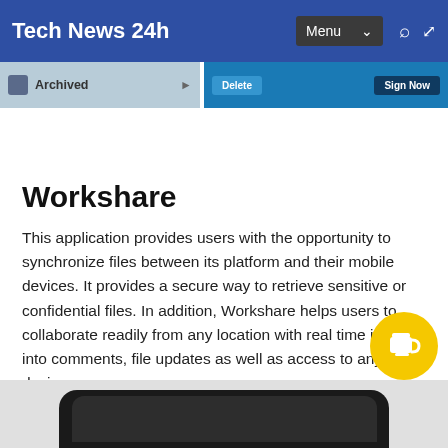Tech News 24h
[Figure (screenshot): Partial banner screenshot showing archived content and sign now button on blue background]
Workshare
This application provides users with the opportunity to synchronize files between its platform and their mobile devices. It provides a secure way to retrieve sensitive or confidential files. In addition, Workshare helps users to collaborate readily from any location with real time insight into comments, file updates as well as access to any device.
[Figure (photo): Bottom of a mobile phone device shown at the base of the page]